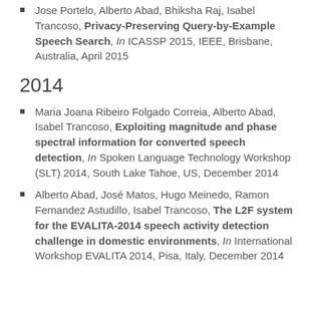Jose Portelo, Alberto Abad, Bhiksha Raj, Isabel Trancoso, Privacy-Preserving Query-by-Example Speech Search, In ICASSP 2015, IEEE, Brisbane, Australia, April 2015
2014
Maria Joana Ribeiro Folgado Correia, Alberto Abad, Isabel Trancoso, Exploiting magnitude and phase spectral information for converted speech detection, In Spoken Language Technology Workshop (SLT) 2014, South Lake Tahoe, US, December 2014
Alberto Abad, José Matos, Hugo Meinedo, Ramon Fernandez Astudillo, Isabel Trancoso, The L2F system for the EVALITA-2014 speech activity detection challenge in domestic environments, In International Workshop EVALITA 2014, Pisa, Italy, December 2014